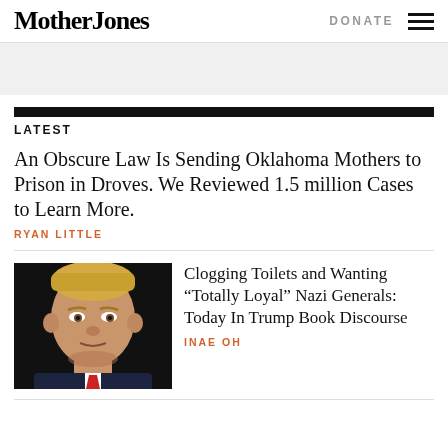Mother Jones | DONATE
LATEST
An Obscure Law Is Sending Oklahoma Mothers to Prison in Droves. We Reviewed 1.5 million Cases to Learn More.
RYAN LITTLE
[Figure (photo): Portrait photo of Donald Trump against dark background, wearing dark suit with red tie]
Clogging Toilets and Wanting “Totally Loyal” Nazi Generals: Today In Trump Book Discourse
INAE OH